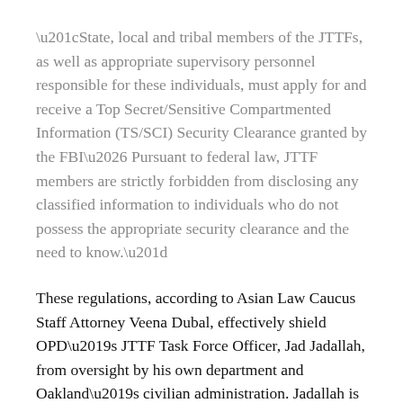“State, local and tribal members of the JTTFs, as well as appropriate supervisory personnel responsible for these individuals, must apply for and receive a Top Secret/Sensitive Compartmented Information (TS/SCI) Security Clearance granted by the FBI… Pursuant to federal law, JTTF members are strictly forbidden from disclosing any classified information to individuals who do not possess the appropriate security clearance and the need to know.”
These regulations, according to Asian Law Caucus Staff Attorney Veena Dubal, effectively shield OPD’s JTTF Task Force Officer, Jad Jadallah, from oversight by his own department and Oakland’s civilian administration. Jadallah is deputized as a federal agent and works closely with federal law enforcement agencies such as the FBI, Immigration and Customs Enforcement, the Drug